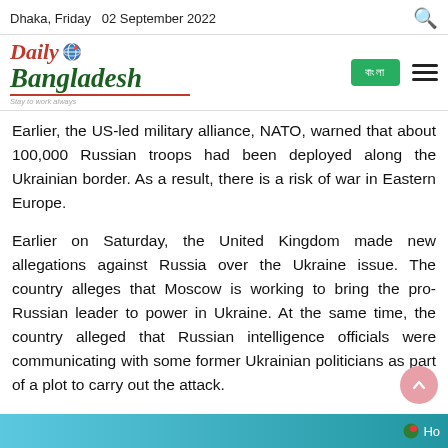Dhaka, Friday  02 September 2022
[Figure (logo): Daily Bangladesh newspaper logo with red 'Daily' text, green 'Bangladesh' text, globe icon, and tagline]
Earlier, the US-led military alliance, NATO, warned that about 100,000 Russian troops had been deployed along the Ukrainian border. As a result, there is a risk of war in Eastern Europe.
Earlier on Saturday, the United Kingdom made new allegations against Russia over the Ukraine issue. The country alleges that Moscow is working to bring the pro-Russian leader to power in Ukraine. At the same time, the country alleged that Russian intelligence officials were communicating with some former Ukrainian politicians as part of a plot to carry out the attack.
The British Foreign Office said on Saturday it had